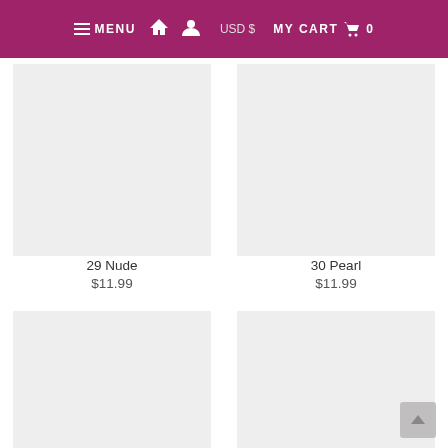≡ MENU  🏠  👤  USD $  MY CART 🛒 0
[Figure (photo): Product image placeholder for 29 Nude - light gray rectangle]
29 Nude
$11.99
[Figure (photo): Product image placeholder for 30 Pearl - light gray rectangle]
30 Pearl
$11.99
[Figure (photo): Product image placeholder - light gray rectangle (partially visible, bottom left)]
[Figure (photo): Product image placeholder - light gray rectangle (partially visible, bottom right)]